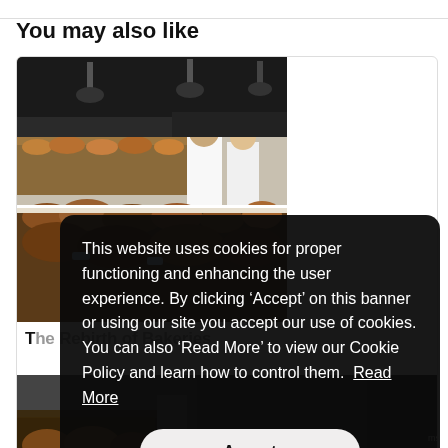You may also like
[Figure (photo): Interior of a bakery showing bread loaves and pastries on display counters with bakery workers in white aprons in the background]
The Rebirth of Bakeries
[Figure (photo): Partial view of another bakery card, showing baked goods in a glass display case]
This website uses cookies for proper functioning and enhancing the user experience. By clicking ‘Accept’ on this banner or using our site you accept our use of cookies. You can also ‘Read More’ to view our Cookie Policy and learn how to control them. Read More
Accept